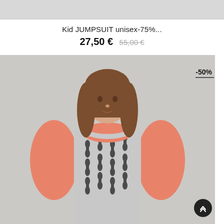[Figure (photo): Top portion of a product listing page showing a cropped gray background image strip at the top]
Kid JUMPSUIT unisex-75%...
27,50 € 55,00 €
[Figure (photo): Photo of a young girl with long brown hair wearing a patterned gray jumpsuit with salmon/coral long-sleeve top underneath, standing against a light gray background. A -50% discount badge appears in the top-right corner of the image. A dark scroll-to-top button appears in the bottom-right corner.]